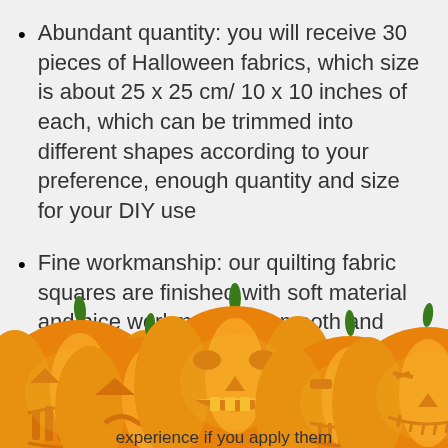Abundant quantity: you will receive 30 pieces of Halloween fabrics, which size is about 25 x 25 cm/ 10 x 10 inches of each, which can be trimmed into different shapes according to your preference, enough quantity and size for your DIY use
Fine workmanship: our quilting fabric squares are finished with soft material and nice workmanship, smooth and comfortable to touch, they...
[Figure (illustration): Five orange jack-o-lantern pumpkins with carved faces and green stems at the bottom of the page, partially overlapping the text above]
experience if you apply them